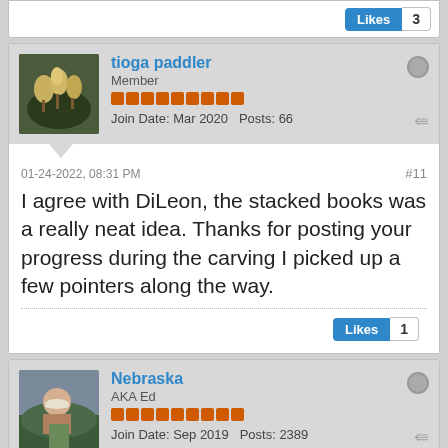Likes 3
tioga paddler
Member
Join Date: Mar 2020  Posts: 66
01-24-2022, 08:31 PM
#11
I agree with DiLeon, the stacked books was a really neat idea. Thanks for posting your progress during the carving I picked up a few pointers along the way.
Likes 1
Nebraska
AKA Ed
Join Date: Sep 2019  Posts: 2389